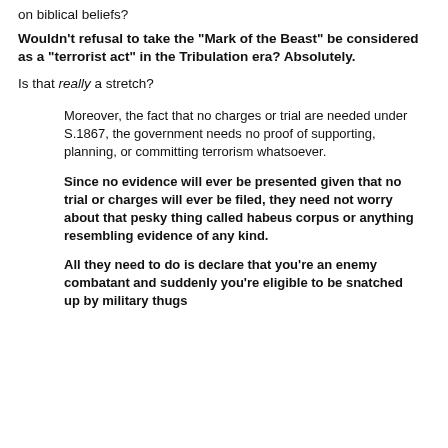on biblical beliefs?
Wouldn't refusal to take the "Mark of the Beast" be considered as a "terrorist act" in the Tribulation era? Absolutely.
Is that really a stretch?
Moreover, the fact that no charges or trial are needed under S.1867, the government needs no proof of supporting, planning, or committing terrorism whatsoever.
Since no evidence will ever be presented given that no trial or charges will ever be filed, they need not worry about that pesky thing called habeus corpus or anything resembling evidence of any kind.
All they need to do is declare that you're an enemy combatant and suddenly you're eligible to be snatched up by military thugs